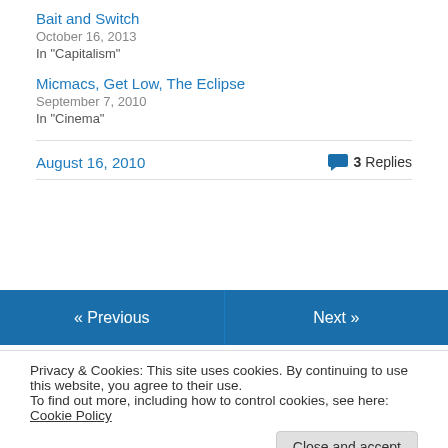Bait and Switch
October 16, 2013
In "Capitalism"
Micmacs, Get Low, The Eclipse
September 7, 2010
In "Cinema"
August 16, 2010
3 Replies
« Previous
Next »
Privacy & Cookies: This site uses cookies. By continuing to use this website, you agree to their use.
To find out more, including how to control cookies, see here: Cookie Policy
Close and accept